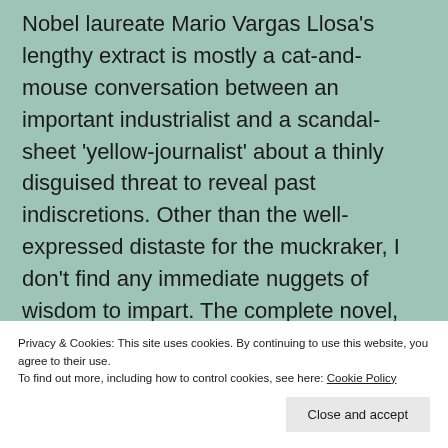Nobel laureate Mario Vargas Llosa's lengthy extract is mostly a cat-and-mouse conversation between an important industrialist and a scandal-sheet 'yellow-journalist' about a thinly disguised threat to reveal past indiscretions. Other than the well-expressed distaste for the muckraker, I don't find any immediate nuggets of wisdom to impart. The complete novel, The Neighborhood, sounds like a captivating murder mystery.
Privacy & Cookies: This site uses cookies. By continuing to use this website, you agree to their use. To find out more, including how to control cookies, see here: Cookie Policy
Close and accept